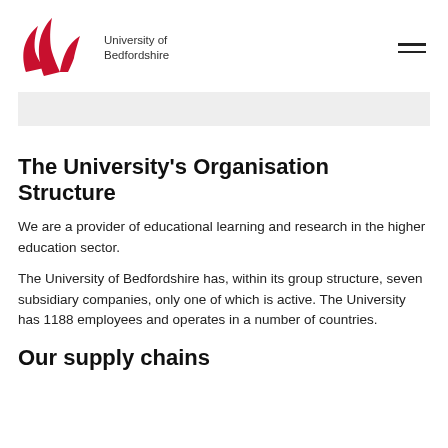[Figure (logo): University of Bedfordshire logo with red leaf/flame shapes and text 'University of Bedfordshire']
The University's Organisation Structure
We are a provider of educational learning and research in the higher education sector.
The University of Bedfordshire has, within its group structure, seven subsidiary companies, only one of which is active. The University has 1188 employees and operates in a number of countries.
Our supply chains